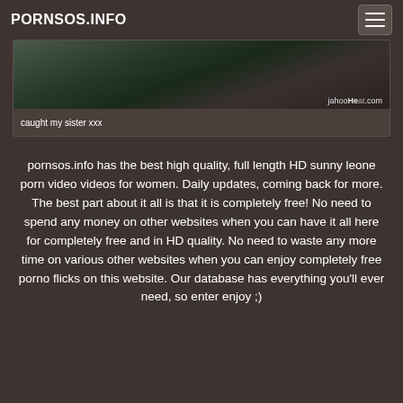PORNSOS.INFO
[Figure (screenshot): Video thumbnail showing dark image with watermark 'jahooHeat.com']
caught my sister xxx
pornsos.info has the best high quality, full length HD sunny leone porn video videos for women. Daily updates, coming back for more. The best part about it all is that it is completely free! No need to spend any money on other websites when you can have it all here for completely free and in HD quality. No need to waste any more time on various other websites when you can enjoy completely free porno flicks on this website. Our database has everything you'll ever need, so enter enjoy ;)